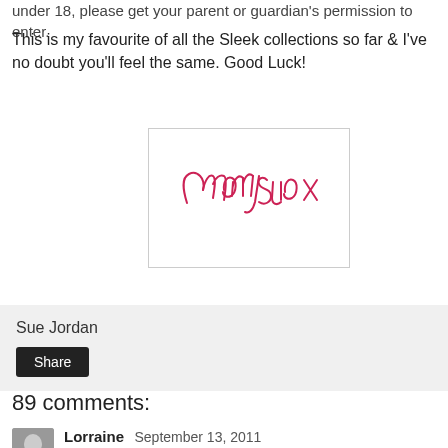under 18, please get your parent or guardian's permission to enter.
This is my favourite of all the Sleek collections so far & I've no doubt you'll feel the same. Good Luck!
[Figure (illustration): Handwritten cursive signature reading 'CherrySue x' in red/pink ink on white background, inside a bordered rectangle]
Sue Jordan
Share
89 comments:
Lorraine  September 13, 2011
You're spoiling is now! That palette is to die for.